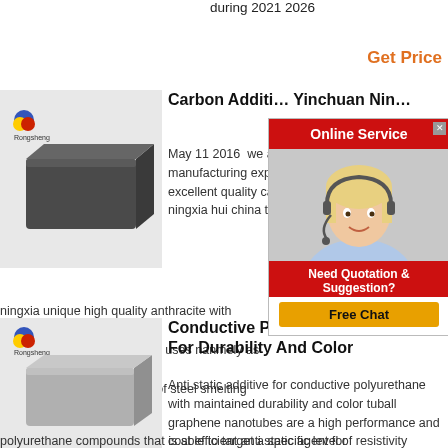during 2021 2026
Get Price
[Figure (illustration): Dark gray rectangular brick product image with Rongsheng logo]
Carbon Additive Yinchuan Nin
May 11 2016 we a manufacturing expo excellent quality ca ningxia hui china th ningxia unique high quality anthracite with characteristi carbon additive has two main uses nanmely as the fue used as the carbon additive of steel smelting and casti
[Figure (infographic): Online Service chat widget with red header, female customer service representative photo, Need Quotation & Suggestion text, and Free Chat button]
[Figure (illustration): Light gray rectangular brick product image with Rongsheng logo]
Conductive Polyurethane ESD Agent For Durability And Color
Anti static additive for conductive polyurethane with maintained durability and color tuball graphene nanotubes are a high performance and cost efficient anti static agent for polyurethane compounds that is able to target a specific level of resistivity provide